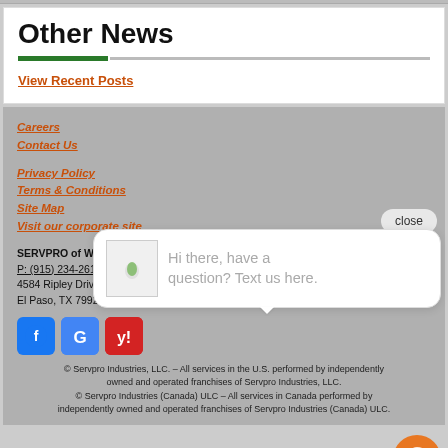Other News
View Recent Posts
Careers
Contact Us
Privacy Policy
Terms & Conditions
Site Map
Visit our corporate site
SERVPRO of West El Paso
P: (915) 234-2614
4584 Ripley Drive, Bldg.
El Paso, TX 79922
© Servpro Industries, LLC. – All services in the U.S. performed by independently owned and operated franchises of Servpro Industries, LLC.
© Servpro Industries (Canada) ULC – All services in Canada performed by independently owned and operated franchises of Servpro Industries (Canada) ULC.